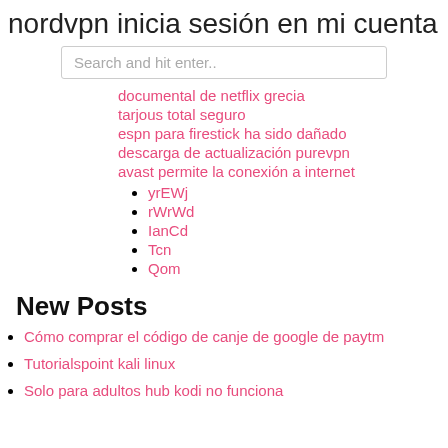nordvpn inicia sesión en mi cuenta
Search and hit enter..
documental de netflix grecia
tarjous total seguro
espn para firestick ha sido dañado
descarga de actualización purevpn
avast permite la conexión a internet
yrEWj
rWrWd
IanCd
Tcn
Qom
New Posts
Cómo comprar el código de canje de google de paytm
Tutorialspoint kali linux
Solo para adultos hub kodi no funciona